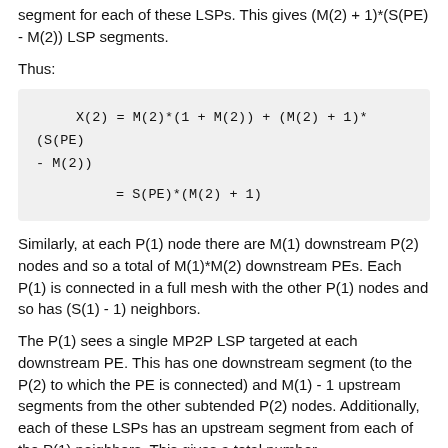segment for each of these LSPs. This gives (M(2) + 1)*(S(PE) - M(2)) LSP segments.
Thus:
Similarly, at each P(1) node there are M(1) downstream P(2) nodes and so a total of M(1)*M(2) downstream PEs. Each P(1) is connected in a full mesh with the other P(1) nodes and so has (S(1) - 1) neighbors.
The P(1) sees a single MP2P LSP targeted at each downstream PE. This has one downstream segment (to the P(2) to which the PE is connected) and M(1) - 1 upstream segments from the other subtended P(2) nodes. Additionally, each of these LSPs has an upstream segment from each of the P(1) neighbors. This gives a total number